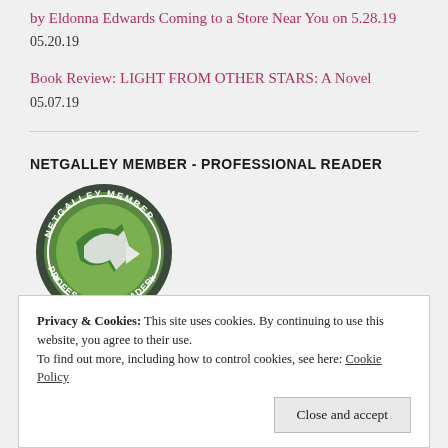by Eldonna Edwards Coming to a Store Near You on 5.28.19
05.20.19
Book Review: LIGHT FROM OTHER STARS: A Novel
05.07.19
NETGALLEY MEMBER - PROFESSIONAL READER
[Figure (logo): NetGalley Member - Professional Reader circular badge with green arrow and star decorations]
Privacy & Cookies: This site uses cookies. By continuing to use this website, you agree to their use.
To find out more, including how to control cookies, see here: Cookie Policy
Close and accept